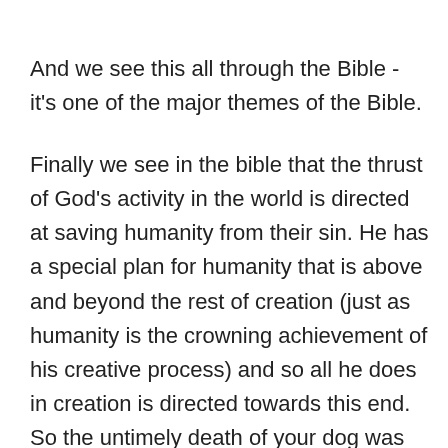And we see this all through the Bible - it's one of the major themes of the Bible.
Finally we see in the bible that the thrust of God's activity in the world is directed at saving humanity from their sin. He has a special plan for humanity that is above and beyond the rest of creation (just as humanity is the crowning achievement of his creative process) and so all he does in creation is directed towards this end. So the untimely death of your dog was part of God's purpose in helping you to come back to him.
So bringing this all together we can see that while